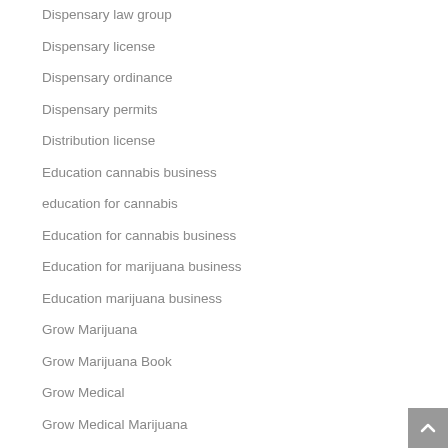Dispensary law group
Dispensary license
Dispensary ordinance
Dispensary permits
Distribution license
Education cannabis business
education for cannabis
Education for cannabis business
Education for marijuana business
Education marijuana business
Grow Marijuana
Grow Marijuana Book
Grow Medical
Grow Medical Marijuana
Growing marijuana dispensaries